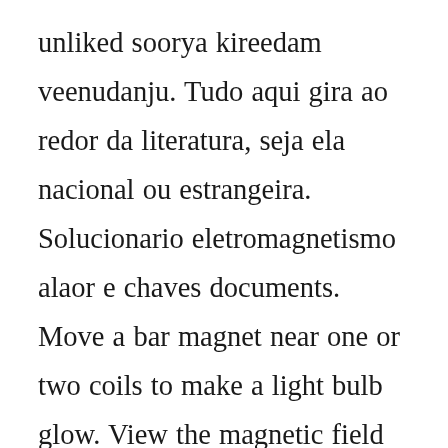unliked soorya kireedam veenudanju. Tudo aqui gira ao redor da literatura, seja ela nacional ou estrangeira. Solucionario eletromagnetismo alaor e chaves documents. Move a bar magnet near one or two coils to make a light bulb glow. View the magnetic field lines or use a meter to show the direction and magnitude of the current. Play with a bar magnet and coils to learn about faradays law. Livros encontrados sobre alaor chaves fisica basica. Thank you for visiting our website and your interest in our free products and services. For educating in our expression in a…